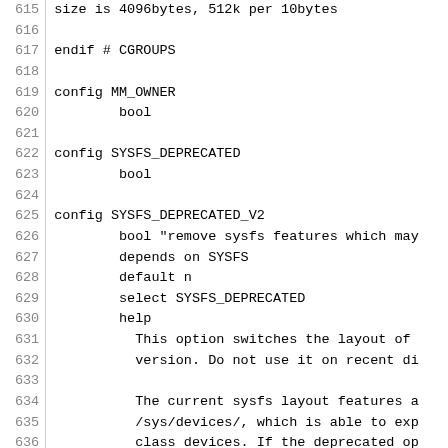Source code listing, lines 615-645, showing Linux kernel Kconfig entries for CGROUPS, MM_OWNER, SYSFS_DEPRECATED, and SYSFS_DEPRECATED_V2 configuration options.